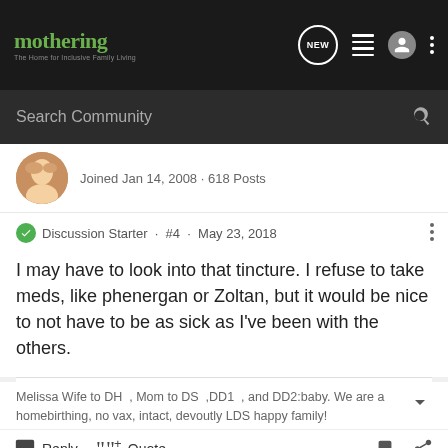[Figure (screenshot): Mothering website navigation bar with logo, search bar, and icons]
mothering · The Home for Inclusive Family Living
Joined Jan 14, 2008 · 618 Posts
Discussion Starter · #4 · May 23, 2018
I may have to look into that tincture. I refuse to take meds, like phenergan or Zoltan, but it would be nice to not have to be as sick as I've been with the others.
Melissa Wife to DH , Mom to DS ,DD1 , and DD2:baby. We are a homebirthing, no vax, intact, devoutly LDS happy family!
Reply  Quote